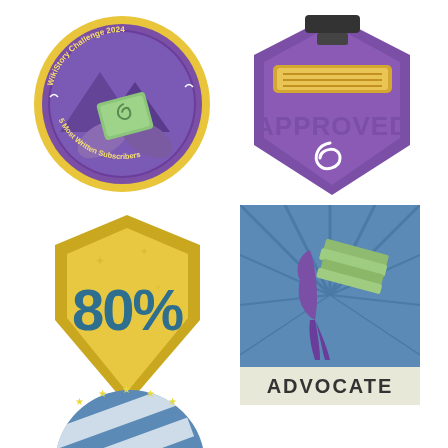[Figure (illustration): Round badge with gold border and purple interior showing two hands exchanging a green spiral-design item, with mountains in background. Text around the circle reads 'WikiStory Challenge 2024' and '5 Most Written Subscribers']
[Figure (illustration): Hexagonal purple badge with a rubber stamp icon at top and gold/tan stamp bar. Text reads 'APPROVED' in purple letters with a white swirl design below.]
[Figure (illustration): Gold shield/badge shape with teal text showing '80%' in large bold numerals.]
[Figure (illustration): Square badge with blue radiating background, purple figure holding green stacked books. Text at bottom reads 'ADVOCATE' in dark letters on white/light background.]
[Figure (illustration): Partially visible circular blue and white striped badge at the bottom of the page with star decorations around the top edge.]